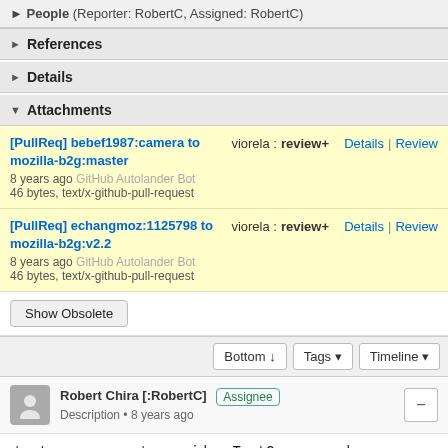People (Reporter: RobertC, Assigned: RobertC)
References
Details
Attachments
[PullReq] bebef1987:camera to mozilla-b2g:master
8 years ago GitHub Autolander Bot
46 bytes, text/x-github-pull-request
viorela : review+
Details | Review
[PullReq] echangmoz:1125798 to mozilla-b2g:v2.2
8 years ago GitHub Autolander Bot
46 bytes, text/x-github-pull-request
viorela : review+
Details | Review
Show Obsolete
Bottom ↓   Tags ▾   Timeline ▾
Robert Chira [:RobertC] Assignee
Description • 8 years ago
test_camera_capture_video.TestCamera and